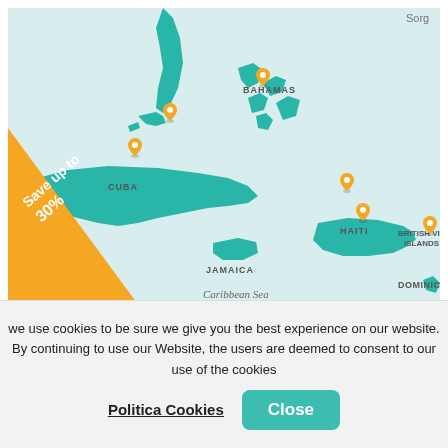[Figure (map): Caribbean Sea map showing teal-colored land masses including Florida, Cuba, Bahamas, Haiti, Jamaica, British Virgin Islands, Dominica. Orange location pins mark various points. A diagonal orange banner in bottom-left corner reads 'Save up to 30%'. Map credits: © Stadia Maps, © OpenMapTiles, © OpenStreetMap. 'Sorg' text partially visible top-right.]
Caribbean
we use cookies to be sure we give you the best experience on our website. By continuing to use our Website, the users are deemed to consent to our use of the cookies
Politica Cookies
Close